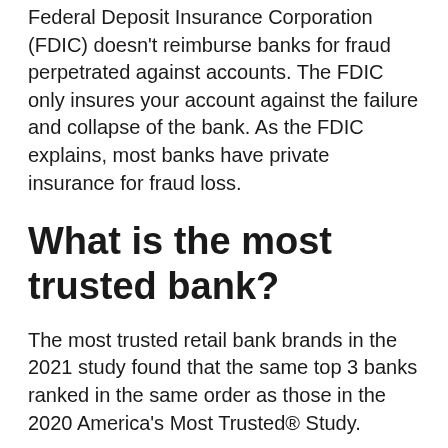Federal Deposit Insurance Corporation (FDIC) doesn't reimburse banks for fraud perpetrated against accounts. The FDIC only insures your account against the failure and collapse of the bank. As the FDIC explains, most banks have private insurance for fraud loss.
What is the most trusted bank?
The most trusted retail bank brands in the 2021 study found that the same top 3 banks ranked in the same order as those in the 2020 America's Most Trusted® Study.
...
America's Most Trusted Retail Bank Brand